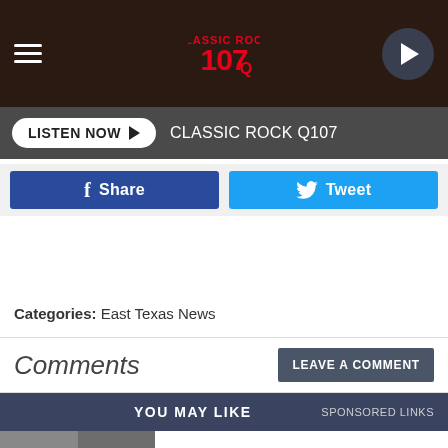Classic Rock Q107 — hamburger menu, logo, play button
LISTEN NOW ▶  CLASSIC ROCK Q107
f  Share   🐦  Tweet
Categories: East Texas News
Comments
LEAVE A COMMENT
YOU MAY LIKE   SPONSORED LINKS
[Figure (photo): Thumbnail image of Cher article with two photos of people]
Cher: He Was My Best Lover
Livingmz